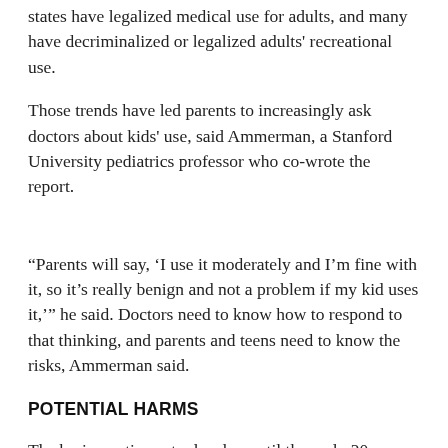states have legalized medical use for adults, and many have decriminalized or legalized adults' recreational use.
Those trends have led parents to increasingly ask doctors about kids' use, said Ammerman, a Stanford University pediatrics professor who co-wrote the report.
“Parents will say, ‘I use it moderately and I’m fine with it, so it’s really benign and not a problem if my kid uses it,’” he said. Doctors need to know how to respond to that thinking, and parents and teens need to know the risks, Ammerman said.
POTENTIAL HARMS
The brain continues to develop until the early 20s, raising concerns about the potential short- and long-term effects of a mind-altering drug. Some studies suggest that teens who...